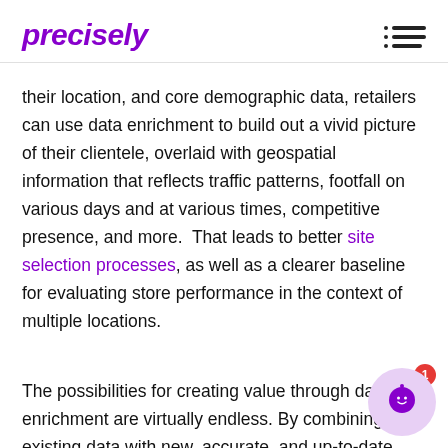precisely
their location, and core demographic data, retailers can use data enrichment to build out a vivid picture of their clientele, overlaid with geospatial information that reflects traffic patterns, footfall on various days and at various times, competitive presence, and more.  That leads to better site selection processes, as well as a clearer baseline for evaluating store performance in the context of multiple locations.
The possibilities for creating value through data enrichment are virtually endless. By combining existing data with new, accurate, and up-to-date data,